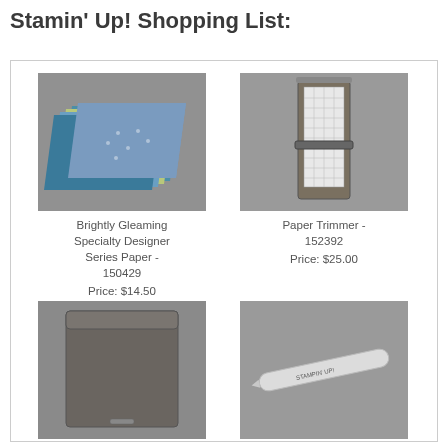Stamin' Up! Shopping List:
[Figure (photo): Brightly Gleaming Specialty Designer Series Paper - stacked patterned paper sheets in blue, teal, green colors]
Brightly Gleaming Specialty Designer Series Paper - 150429
Price: $14.50
[Figure (photo): Paper Trimmer - a paper cutting/trimming tool with ruler grid]
Paper Trimmer - 152392
Price: $25.00
[Figure (photo): Dark grey/charcoal storage pouch or bag product]
[Figure (photo): A bone folder or scoring tool, white elongated tool]